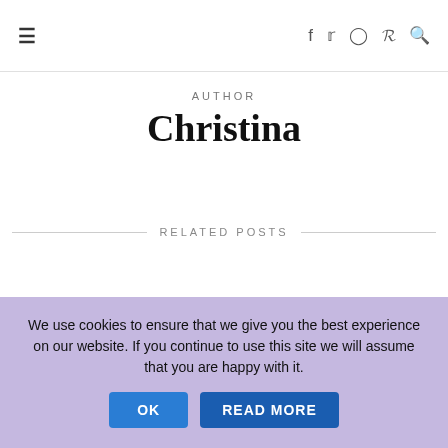☰  f  𝕏  ◎  𝓟  🔍
AUTHOR
Christina
RELATED POSTS
Top Secret Blogger Tip #6 – Round Ups
APRIL 14, 2015
Top Secret Blogging Tips #5 – Social Media
We use cookies to ensure that we give you the best experience on our website. If you continue to use this site we will assume that you are happy with it.
OK  READ MORE